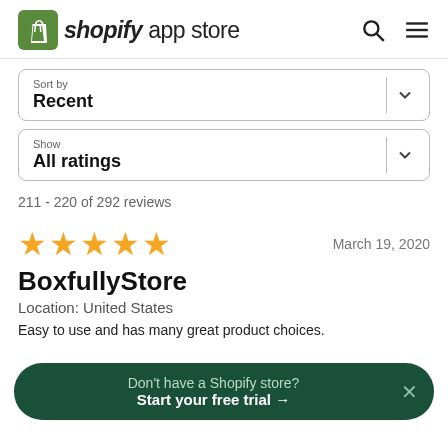shopify app store
Sort by
Recent
Show
All ratings
211 - 220 of 292 reviews
★★★★★  March 19, 2020
BoxfullyStore
Location: United States
Easy to use and has many great product choices.
Don't have a Shopify store? Start your free trial →